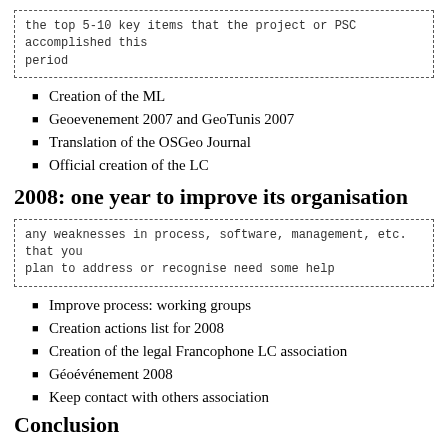the top 5-10 key items that the project or PSC accomplished this period
Creation of the ML
Geoevenement 2007 and GeoTunis 2007
Translation of the OSGeo Journal
Official creation of the LC
2008: one year to improve its organisation
any weaknesses in process, software, management, etc. that you plan to address or recognise need some help
Improve process: working groups
Creation actions list for 2008
Creation of the legal Francophone LC association
Géoévénement 2008
Keep contact with others association
Conclusion